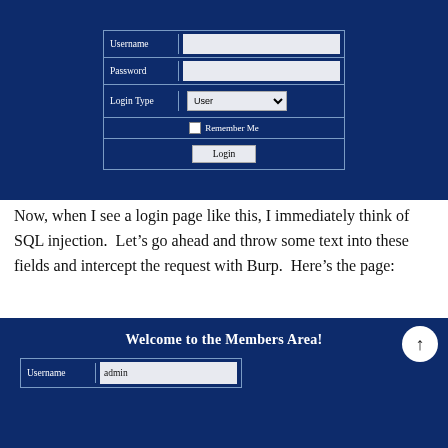[Figure (screenshot): Login form screenshot on dark blue background with Username, Password, Login Type (User dropdown), Remember Me checkbox, and Login button]
Now, when I see a login page like this, I immediately think of SQL injection.  Let’s go ahead and throw some text into these fields and intercept the request with Burp.  Here’s the page:
[Figure (screenshot): Members area screenshot on dark blue background showing 'Welcome to the Members Area!' heading with up-arrow button and Username field filled with 'admin']